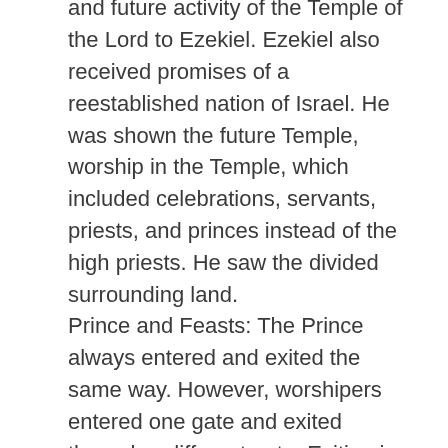and future activity of the Temple of the Lord to Ezekiel. Ezekiel also received promises of a reestablished nation of Israel. He was shown the future Temple, worship in the Temple, which included celebrations, servants, priests, and princes instead of the high priests. He saw the divided surrounding land.
Prince and Feasts: The Prince always entered and exited the same way. However, worshipers entered one gate and exited through a different gate. Exiting in a different way signified how worship changes us.
47: Ezekiel saw how water flowed from the Temple's threshold and the land was divided in